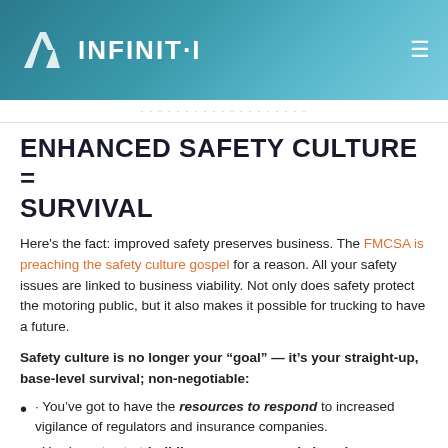INFINIT-I
ENHANCED SAFETY CULTURE = SURVIVAL
Here's the fact: improved safety preserves business. The FMCSA is preaching the safety culture gospel for a reason. All your safety issues are linked to business viability. Not only does safety protect the motoring public, but it also makes it possible for trucking to have a future.
Safety culture is no longer your “goal” — it’s your straight-up, base-level survival; non-negotiable:
· You’ve got to have the resources to respond to increased vigilance of regulators and insurance companies.
· You have to start building awareness and changing behaviors in drivers to avoid fines, fees, and lawsuits.